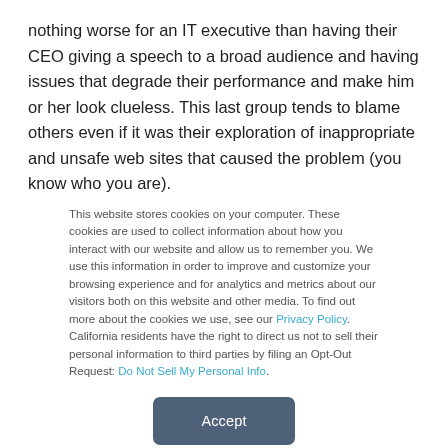nothing worse for an IT executive than having their CEO giving a speech to a broad audience and having issues that degrade their performance and make him or her look clueless. This last group tends to blame others even if it was their exploration of inappropriate and unsafe web sites that caused the problem (you know who you are).
This website stores cookies on your computer. These cookies are used to collect information about how you interact with our website and allow us to remember you. We use this information in order to improve and customize your browsing experience and for analytics and metrics about our visitors both on this website and other media. To find out more about the cookies we use, see our Privacy Policy. California residents have the right to direct us not to sell their personal information to third parties by filing an Opt-Out Request: Do Not Sell My Personal Info.